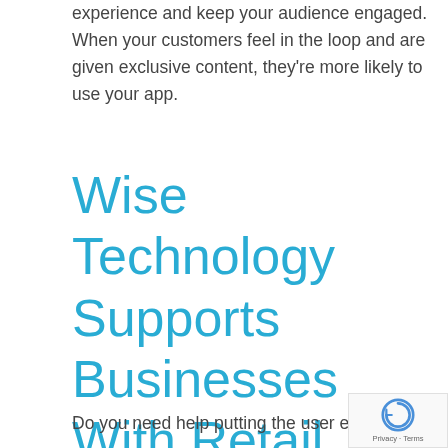experience and keep your audience engaged. When your customers feel in the loop and are given exclusive content, they're more likely to use your app.
Wise Technology Supports Businesses With Retail Application Development
Do you need help putting the user experience